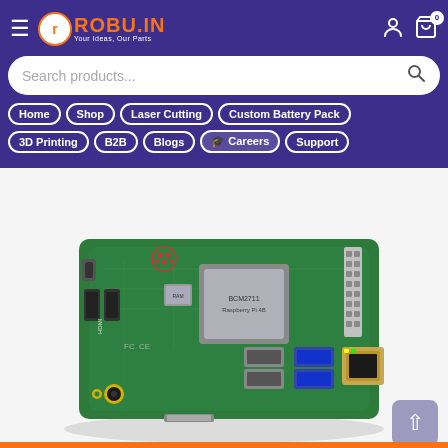ROBU.IN - Your Ideas, Our Parts - Navigation header with search, Home, Shop, Laser Cutting, Custom Battery Pack, 3D Printing, B2B, Blogs, Careers, Support
[Figure (photo): Raspberry Pi 4 Model B single-board computer shown at an angle, green PCB with BCM2711 processor, USB 3.0 ports (blue), USB 2.0 ports, Ethernet port, HDMI port, audio jack, and GPIO header pins visible. White background.]